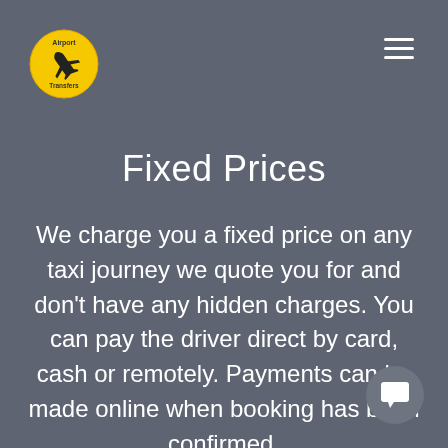[Figure (logo): Yellow circular Airport Transfers logo with airplane icon]
[Figure (other): Hamburger menu icon (three white horizontal lines) in top right corner]
Fixed Prices
We charge you a fixed price on any taxi journey we quote you for and don't have any hidden charges. You can pay the driver direct by card, cash or remotely. Payments can be made online when booking has been confirmed.
[Figure (other): Chat/message bubble icon button in bottom right corner]